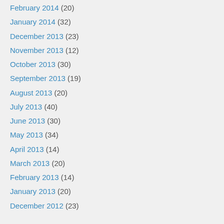February 2014 (20)
January 2014 (32)
December 2013 (23)
November 2013 (12)
October 2013 (30)
September 2013 (19)
August 2013 (20)
July 2013 (40)
June 2013 (30)
May 2013 (34)
April 2013 (14)
March 2013 (20)
February 2013 (14)
January 2013 (20)
December 2012 (23)